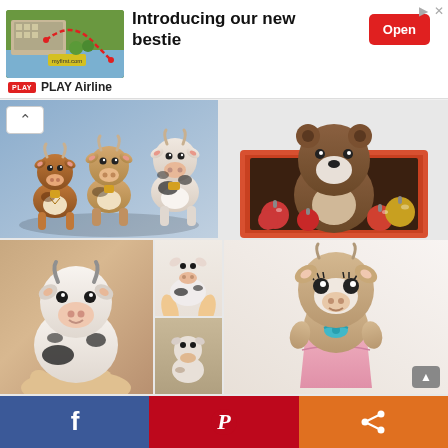[Figure (screenshot): Advertisement banner for PLAY Airline featuring an image of a building/landscape with a route diagram, text 'Introducing our new bestie', a red Open button, and PLAY Airline logo at bottom left. Has ad close icons top right.]
[Figure (photo): Pinterest-style image grid showing crochet amigurumi cow toys. Top left: three small cow figurines (brown, beige, white/black spotted) on blue background. Top right: brown crocheted bear/cow in orange gift box with red and gold ornaments. Bottom left large: white and black crocheted cow being held by a hand. Bottom middle top: white cow with black spots held by fingers. Bottom middle bottom: small crocheted animal. Bottom right: tan/beige dressed cow figurine in pink dress with teal bow.]
[Figure (screenshot): Social media sharing bar at bottom with Facebook (blue, f icon), Pinterest (red, P icon), and share/forward (orange, arrow icon) buttons.]